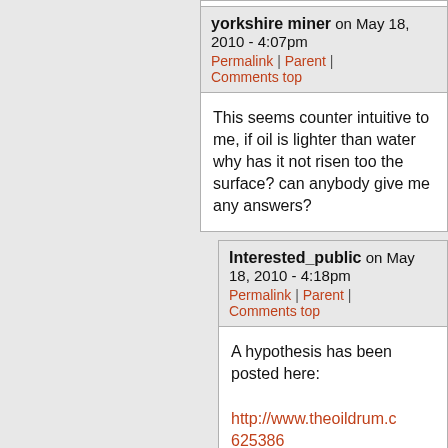yorkshire miner on May 18, 2010 - 4:07pm | Permalink | Parent | Comments top
This seems counter intuitive to me, if oil is lighter than water why has it not risen too the surface? can anybody give me any answers?
Interested_public on May 18, 2010 - 4:18pm | Permalink | Parent | Comments top
A hypothesis has been posted here:

http://www.theoildrum.c 625386

The depth of the leak, a ~mile below the